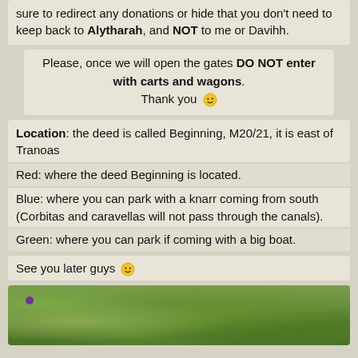sure to redirect any donations or hide that you don't need to keep back to Alytharah, and NOT to me or Davihh.
Please, once we will open the gates DO NOT enter with carts and wagons. Thank you 🙂
Location: the deed is called Beginning, M20/21, it is east of Tranoas
Red: where the deed Beginning is located.
Blue: where you can park with a knarr coming from south (Corbitas and caravellas will not pass through the canals).
Green: where you can park if coming with a big boat.
See you later guys 🙂
[Figure (photo): Outdoor photo showing green mossy or grassy terrain, with a small purple dot/flower visible in the upper left area of the image.]